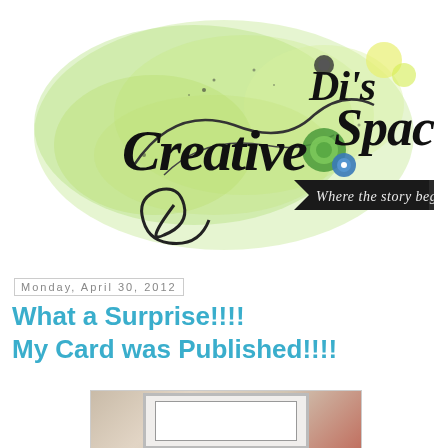[Figure (logo): Di's Creative Space blog logo — decorative script text reading 'Di's Creative Space' with green watercolor and floral elements, black ribbon banner reading 'Where the story begins...']
Monday, April 30, 2012
What a Surprise!!!! My Card was Published!!!!
[Figure (photo): Partial photo of a greeting card displayed on or near a computer monitor, brown/beige background]